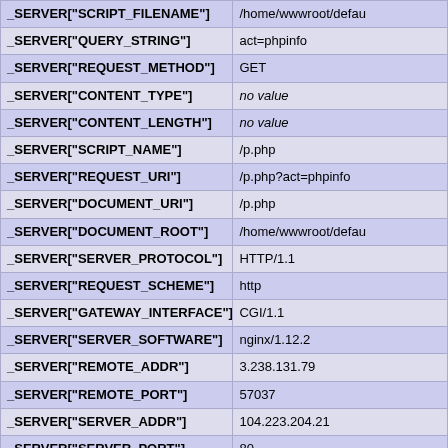| Variable | Value |
| --- | --- |
| _SERVER["SCRIPT_FILENAME"] | /home/wwwroot/defau |
| _SERVER["QUERY_STRING"] | act=phpinfo |
| _SERVER["REQUEST_METHOD"] | GET |
| _SERVER["CONTENT_TYPE"] | no value |
| _SERVER["CONTENT_LENGTH"] | no value |
| _SERVER["SCRIPT_NAME"] | /p.php |
| _SERVER["REQUEST_URI"] | /p.php?act=phpinfo |
| _SERVER["DOCUMENT_URI"] | /p.php |
| _SERVER["DOCUMENT_ROOT"] | /home/wwwroot/defau |
| _SERVER["SERVER_PROTOCOL"] | HTTP/1.1 |
| _SERVER["REQUEST_SCHEME"] | http |
| _SERVER["GATEWAY_INTERFACE"] | CGI/1.1 |
| _SERVER["SERVER_SOFTWARE"] | nginx/1.12.2 |
| _SERVER["REMOTE_ADDR"] | 3.238.131.79 |
| _SERVER["REMOTE_PORT"] | 57037 |
| _SERVER["SERVER_ADDR"] | 104.223.204.21 |
| _SERVER["SERVER_PORT"] | 80 |
| _SERVER["SERVER_NAME"] | _ |
| _SERVER["REDIRECT_STATUS"] | 200 |
| _SERVER["PHP_ADMIN_VALUE"] | open_basedir=/home/ |
| _SERVER["HTTP_HOST"] | glennrolfe.com |
| _SERVER["HTTP_CONNECTION"] | keep-alive |